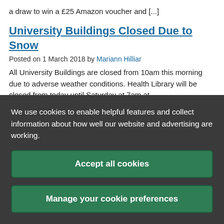a draw to win a £25 Amazon voucher and [...]
University Buildings Closed Due to Snow
Posted on 1 March 2018 by Mariann Hilliar
All University Buildings are closed from 10am this morning due to adverse weather conditions. Health Library will be closed from today until Saturday at 7am at
We use cookies to enable helpful features and collect information about how well our website and advertising are working.
Accept all cookies
Manage your cookie preferences